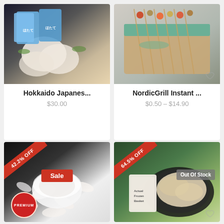[Figure (photo): Hokkaido Japanese scallops product photo with packaging bags]
Hokkaido Japanes...
$30.00
[Figure (photo): NordicGrill instant grill skewers product in a box]
NordicGrill Instant ...
$0.50 – $14.90
[Figure (photo): Scallop product with 42.2% OFF ribbon and Sale badge and Premium stamp]
[Figure (photo): Frozen basket product with 64.5% OFF ribbon and Out Of Stock badge]